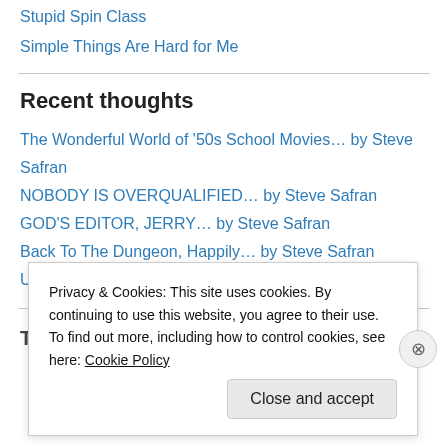Stupid Spin Class
Simple Things Are Hard for Me
Recent thoughts
The Wonderful World of '50s School Movies… by Steve Safran
NOBODY IS OVERQUALIFIED… by Steve Safran
GOD'S EDITOR, JERRY… by Steve Safran
Back To The Dungeon, Happily… by Steve Safran
Unpopular Opinions
Twitter
Privacy & Cookies: This site uses cookies. By continuing to use this website, you agree to their use.
To find out more, including how to control cookies, see here: Cookie Policy
Close and accept